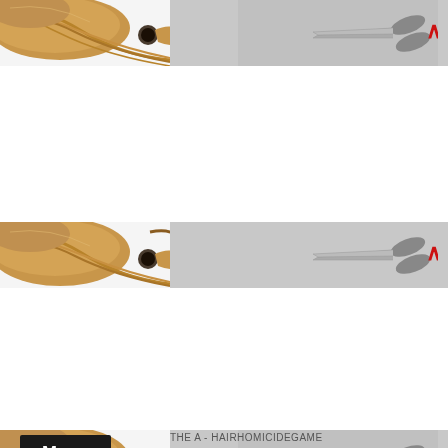[Figure (screenshot): Repeating website banner showing a woman with a ponytail on the left, red letter icons in the center, and scissors/hair tools on the right with a gray background. A 'Menu' button is visible in the bottom-left banner.]
Menu